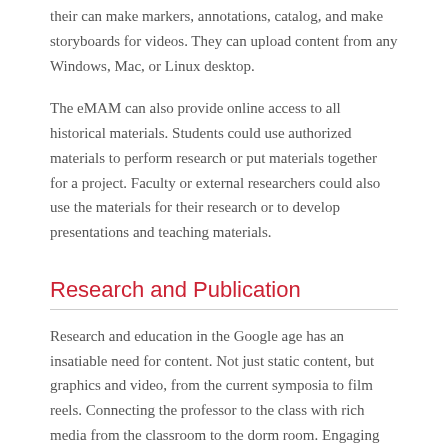their can make markers, annotations, catalog, and make storyboards for videos. They can upload content from any Windows, Mac, or Linux desktop.
The eMAM can also provide online access to all historical materials. Students could use authorized materials to perform research or put materials together for a project. Faculty or external researchers could also use the materials for their research or to develop presentations and teaching materials.
Research and Publication
Research and education in the Google age has an insatiable need for content. Not just static content, but graphics and video, from the current symposia to film reels. Connecting the professor to the class with rich media from the classroom to the dorm room. Engaging alums and the community. Building a connected digital